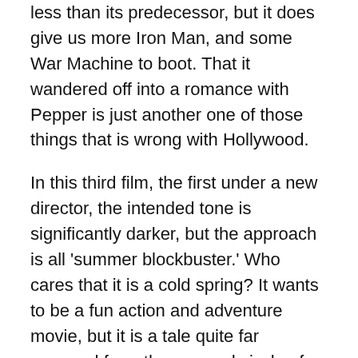less than its predecessor, but it does give us more Iron Man, and some War Machine to boot. That it wandered off into a romance with Pepper is just another one of those things that is wrong with Hollywood.
In this third film, the first under a new director, the intended tone is significantly darker, but the approach is all 'summer blockbuster.' Who cares that it is a cold spring? It wants to be a fun action and adventure movie, but it is a tale quite far removed from the sun and sizzle of summer. The dramatic build and the painful arc of development that Stark rides is offset, often jarringly for me, by the inclusion of slapstick and quite juvenile humor sparked not by the characters being funny in character, but by the writers providing laughs for an audience. Now the title of this entry finally makes sense, right?
It was this curious and consistent divide between mature